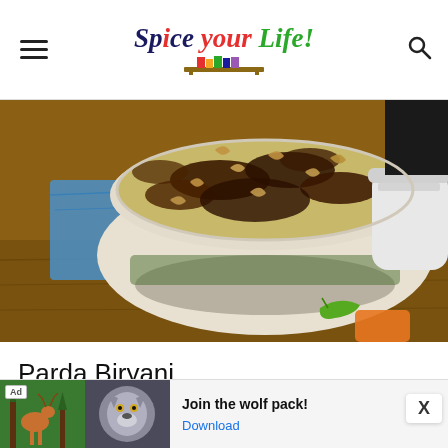Spice your Life!
[Figure (photo): A Parda Biryani dish served in a white ceramic pot/bowl, topped with caramelized onions and cashew nuts, placed on a wooden surface. A green chili and orange/carrot pieces are visible beside the pot. A white jar is in the background.]
Parda Biryani
For the Rice:
[Figure (photo): Advertisement banner showing wolves and a deer in a nature scene. Text reads 'Join the wolf pack!' with a 'Download' link. Ad badge visible.]